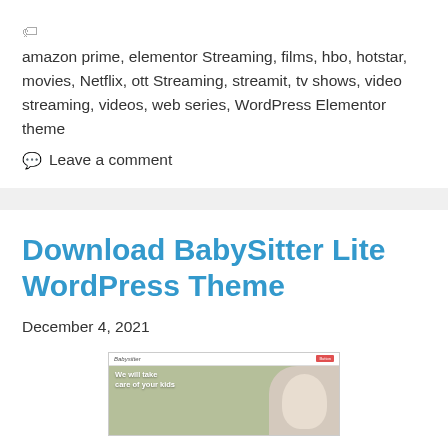🏷 amazon prime, elementor Streaming, films, hbo, hotstar, movies, Netflix, ott Streaming, streamit, tv shows, video streaming, videos, web series, WordPress Elementor theme
💬 Leave a comment
Download BabySitter Lite WordPress Theme
December 4, 2021
[Figure (screenshot): Screenshot of BabySitter WordPress theme showing a baby/childcare website with a nav bar containing the Babysitter logo and a red button, and a green/olive background with white text reading 'We will take care of your kids' alongside an image of a baby.]